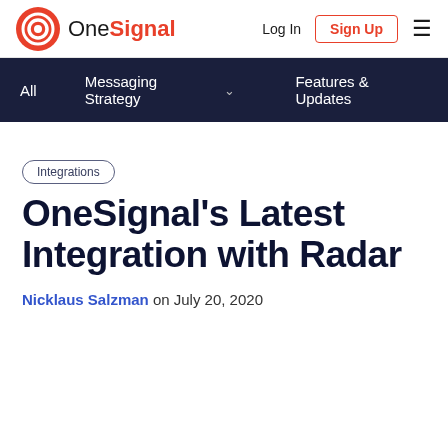OneSignal | Log In | Sign Up
All | Messaging Strategy | Features & Updates
Integrations
OneSignal's Latest Integration with Radar
Nicklaus Salzman on July 20, 2020